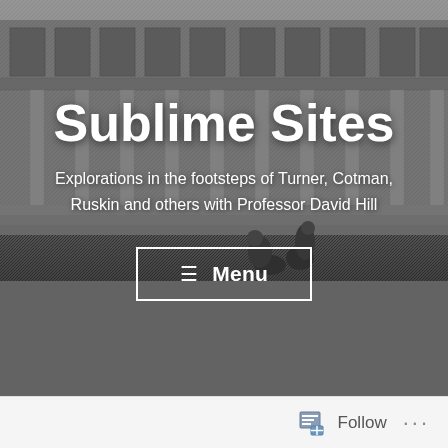[Figure (illustration): Black and white engraving of a grand neoclassical building with columns and steps, with figures in the foreground, serving as the hero background image for the website 'Sublime Sites'.]
Sublime Sites
Explorations in the footsteps of Turner, Cotman, Ruskin and others with Professor David Hill
☰  Menu
Follow  ···